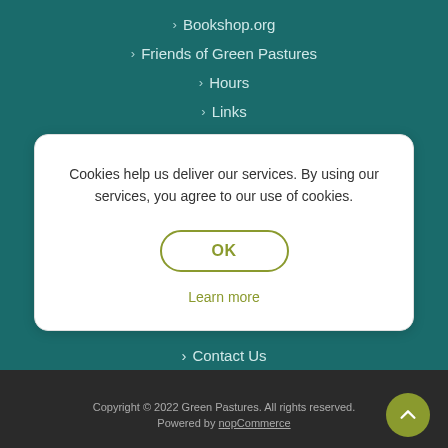> Bookshop.org
> Friends of Green Pastures
> Hours
> Links
Cookies help us deliver our services. By using our services, you agree to our use of cookies.
OK
Learn more
> Contact Us
Copyright © 2022 Green Pastures. All rights reserved. Powered by nopCommerce